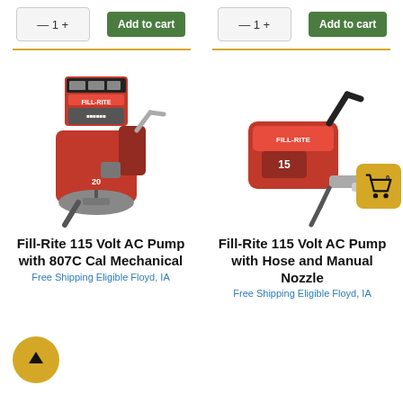[Figure (screenshot): Top row showing quantity input boxes and green Add to Cart buttons for two products side by side]
[Figure (photo): Fill-Rite 115 Volt AC Pump with 807C mechanical meter, red pump unit with meter and nozzle]
[Figure (photo): Fill-Rite 115 Volt AC Pump with Hose and Manual Nozzle, red pump unit with black hose and silver nozzle]
Fill-Rite 115 Volt AC Pump with 807C Cal Mechanical
Fill-Rite 115 Volt AC Pump with Hose and Manual Nozzle
Free Shipping Eligible Floyd, IA
Free Shipping Eligible Floyd, IA